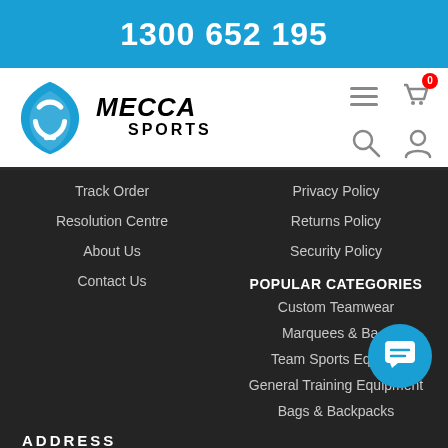1300 652 195
[Figure (logo): Mecca Sports logo with blue shield icon and bold MECCA SPORTS text]
Track Order
Privacy Policy
Resolution Centre
Returns Policy
About Us
Security Policy
Contact Us
POPULAR CATEGORIES
Custom Teamwear
Marquees & Ba...
Team Sports Equip...
General Training Equipment
Bags & Backpacks
ADDRESS